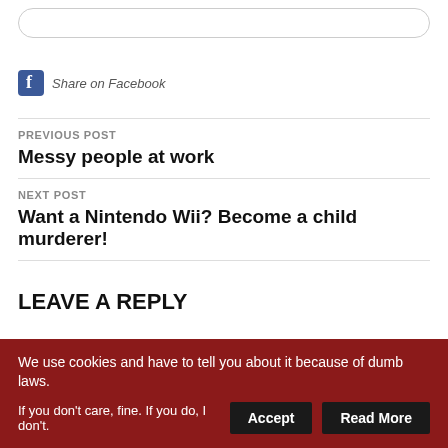[Figure (other): Rounded search input box outline]
Share on Facebook
PREVIOUS POST
Messy people at work
NEXT POST
Want a Nintendo Wii? Become a child murderer!
LEAVE A REPLY
We use cookies and have to tell you about it because of dumb laws.
If you don't care, fine. If you do, I don't.
Accept
Read More